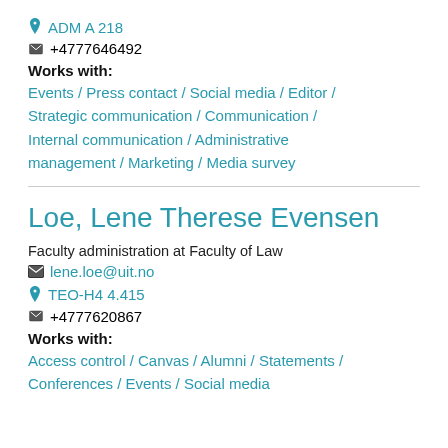ADM A 218
+4777646492
Works with:
Events / Press contact / Social media / Editor / Strategic communication / Communication / Internal communication / Administrative management / Marketing / Media survey
Loe, Lene Therese Evensen
Faculty administration at Faculty of Law
lene.loe@uit.no
TEO-H4 4.415
+4777620867
Works with:
Access control / Canvas / Alumni / Statements / Conferences / Events / Social media